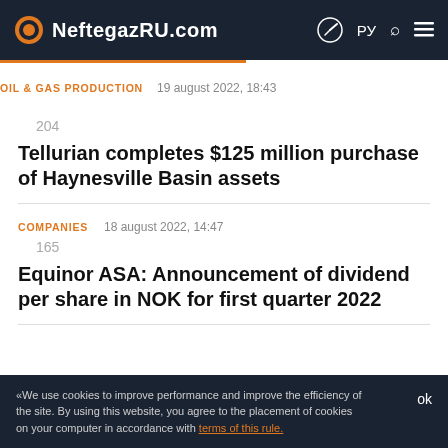NeftegazRU.com
OIL & GAS PRODUCTION
19 august 2022, 18:43
204
Tellurian completes $125 million purchase of Haynesville Basin assets
COMPANIES
18 august 2022, 14:47
165
Equinor ASA: Announcement of dividend per share in NOK for first quarter 2022
«We use cookies to improve performance and improve the efficiency of the site. By using this website, you agree to the placement of cookies on your computer in accordance with terms of this rule.